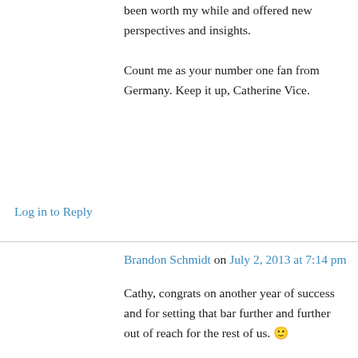been worth my while and offered new perspectives and insights. Count me as your number one fan from Germany. Keep it up, Catherine Vice.
Log in to Reply
Brandon Schmidt on July 2, 2013 at 7:14 pm
Cathy, congrats on another year of success and for setting that bar further and further out of reach for the rest of us. 🙂
Log in to Reply
Indie Gamer Chick on July 2, 2013 at 7:16 pm